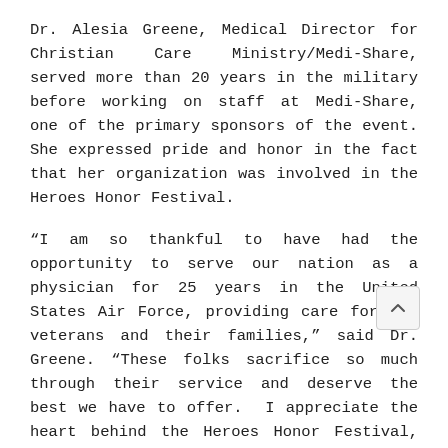Dr. Alesia Greene, Medical Director for Christian Care Ministry/Medi-Share, served more than 20 years in the military before working on staff at Medi-Share, one of the primary sponsors of the event. She expressed pride and honor in the fact that her organization was involved in the Heroes Honor Festival.
“I am so thankful to have had the opportunity to serve our nation as a physician for 25 years in the United States Air Force, providing care for our veterans and their families,” said Dr. Greene. “These folks sacrifice so much through their service and deserve the best we have to offer. I appreciate the heart behind the Heroes Honor Festival, honoring those Vietnam Veterans who have faced so many challenges over the past 50 years. As we prepare for Memorial Day, let us not forget these serviceman and their families, especially those who have given their lives in safeguarding our nation.”
Tickets are still available. Veterans, Active Military, their